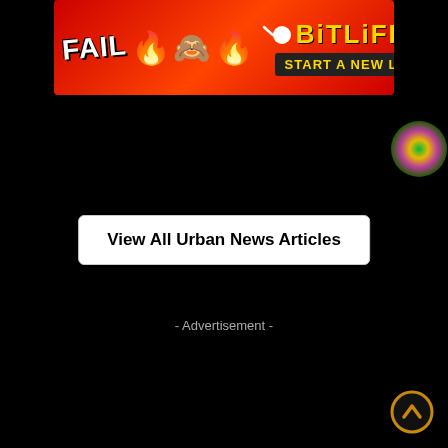[Figure (screenshot): BitLife mobile advertisement banner with 'FAIL' text, animated character, flames, and 'START A NEW LIFE' tagline on red background]
[Figure (other): Circular colorful icon in top right corner]
View All Urban News Articles
- Advertisement -
[Figure (other): Circular scroll-to-top button with upward chevron, gold border, dark background, bottom right corner]